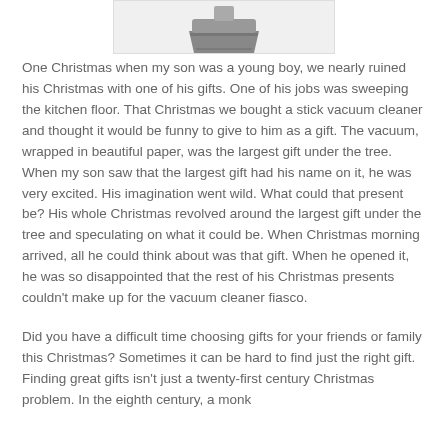[Figure (illustration): Partial image of a stick vacuum cleaner, showing the top portion against a white background with a light gray border box.]
One Christmas when my son was a young boy, we nearly ruined his Christmas with one of his gifts. One of his jobs was sweeping the kitchen floor. That Christmas we bought a stick vacuum cleaner and thought it would be funny to give to him as a gift. The vacuum, wrapped in beautiful paper, was the largest gift under the tree. When my son saw that the largest gift had his name on it, he was very excited. His imagination went wild. What could that present be? His whole Christmas revolved around the largest gift under the tree and speculating on what it could be. When Christmas morning arrived, all he could think about was that gift. When he opened it, he was so disappointed that the rest of his Christmas presents couldn't make up for the vacuum cleaner fiasco.
Did you have a difficult time choosing gifts for your friends or family this Christmas? Sometimes it can be hard to find just the right gift. Finding great gifts isn't just a twenty-first century Christmas problem. In the eighth century, a monk named Alcuin...